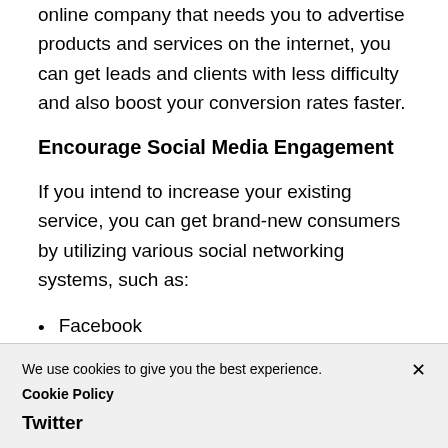online company that needs you to advertise products and services on the internet, you can get leads and clients with less difficulty and also boost your conversion rates faster.
Encourage Social Media Engagement
If you intend to increase your existing service, you can get brand-new consumers by utilizing various social networking systems, such as:
Facebook
We use cookies to give you the best experience. Cookie Policy
Twitter